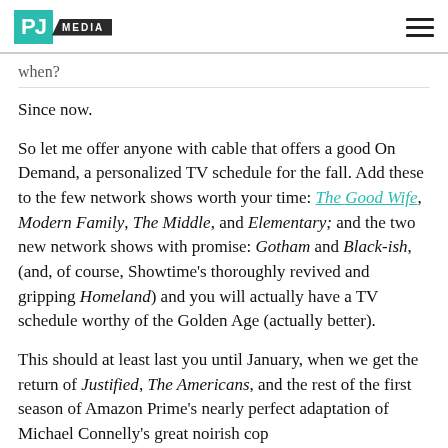PJ MEDIA
when?
Since now.
So let me offer anyone with cable that offers a good On Demand, a personalized TV schedule for the fall. Add these to the few network shows worth your time: The Good Wife, Modern Family, The Middle, and Elementary; and the two new network shows with promise: Gotham and Black-ish, (and, of course, Showtime's thoroughly revived and gripping Homeland) and you will actually have a TV schedule worthy of the Golden Age (actually better).
This should at least last you until January, when we get the return of Justified, The Americans, and the rest of the first season of Amazon Prime's nearly perfect adaptation of Michael Connelly's great noirish cop